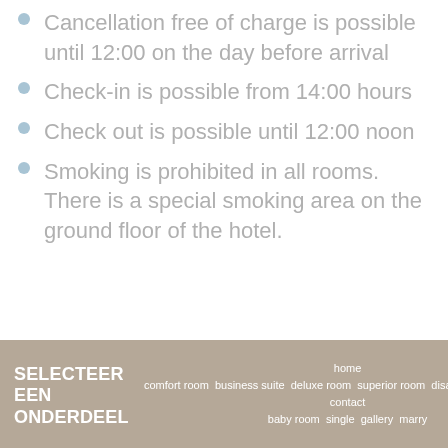Cancellation free of charge is possible until 12:00 on the day before arrival
Check-in is possible from 14:00 hours
Check out is possible until 12:00 noon
Smoking is prohibited in all rooms. There is a special smoking area on the ground floor of the hotel.
SELECTEER EEN ONDERDEEL | home comfort room | business suite | deluxe room | superior room | disabled room | meetings | parties and celebrations | baby room | single | gallery | marry | contact